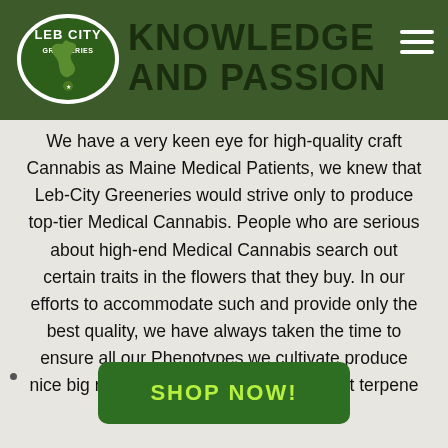KNOWLEDGE AND PASSION
We have a very keen eye for high-quality craft Cannabis as Maine Medical Patients, we knew that Leb-City Greeneries would strive only to produce top-tier Medical Cannabis. People who are serious about high-end Medical Cannabis search out certain traits in the flowers that they buy. In our efforts to accommodate such and provide only the best quality, we have always taken the time to ensure all our Phenotypes we cultivate produce nice big ripe, frosty Buds with very distinct terpene profiles and flavors.
SHOP NOW!